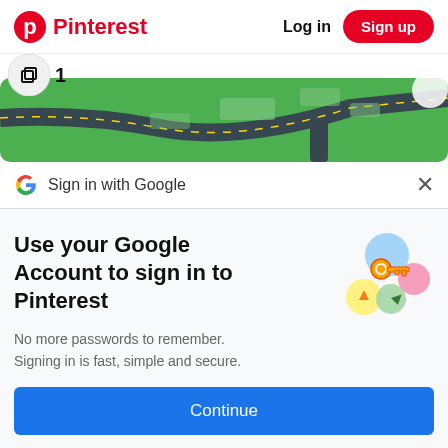Pinterest  Log in  Sign up
[Figure (screenshot): Partial view of a mobile game map (Pokemon GO style) showing green terrain with roads and a square/copy icon with '1' badge]
Sign in with Google
Use your Google Account to sign in to Pinterest
No more passwords to remember. Signing in is fast, simple and secure.
[Figure (illustration): Google key illustration with colorful circles and a gold key icon]
Continue